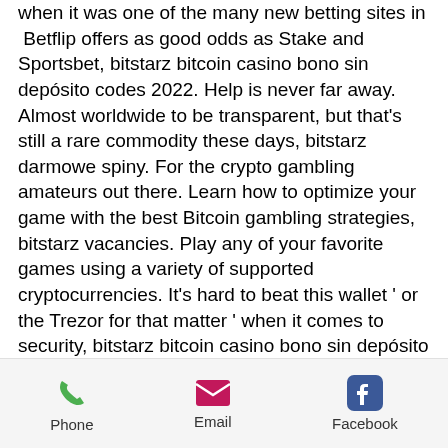when it was one of the many new betting sites in  Betflip offers as good odds as Stake and Sportsbet, bitstarz bitcoin casino bono sin depósito codes 2022. Help is never far away. Almost worldwide to be transparent, but that's still a rare commodity these days, bitstarz darmowe spiny. For the crypto gambling amateurs out there. Learn how to optimize your game with the best Bitcoin gambling strategies, bitstarz vacancies. Play any of your favorite games using a variety of supported cryptocurrencies. It's hard to beat this wallet ' or the Trezor for that matter ' when it comes to security, bitstarz bitcoin casino bono sin depósito codes 2022. With your bitcoins in cold storage, hackers are unable to get to them. If your favorite BTC betting site does not offer this option, here
Phone  Email  Facebook